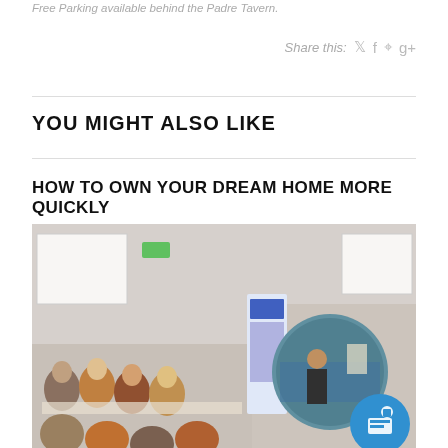Free Parking available behind the Padre Tavern.
Share this:
YOU MIGHT ALSO LIKE
HOW TO OWN YOUR DREAM HOME MORE QUICKLY
[Figure (photo): A seminar or workshop scene with people seated at tables and a presenter standing near a presentation screen. A pull-up banner is visible. A circular inset shows an aquarium or fish tank area. A blue webinar icon badge is in the lower right.]